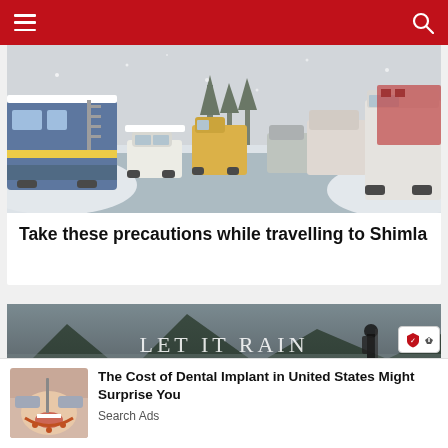Navigation bar with menu and search icons
[Figure (photo): Snow-covered mountain road with vehicles including buses, cars, and trucks lined up in traffic in winter conditions in Shimla]
Take these precautions while travelling to Shimla
[Figure (photo): Hikers trekking through misty mountain valley with text overlay reading LET IT RAIN]
[Figure (photo): Advertisement thumbnail showing dental procedure being performed]
The Cost of Dental Implant in United States Might Surprise You
Search Ads